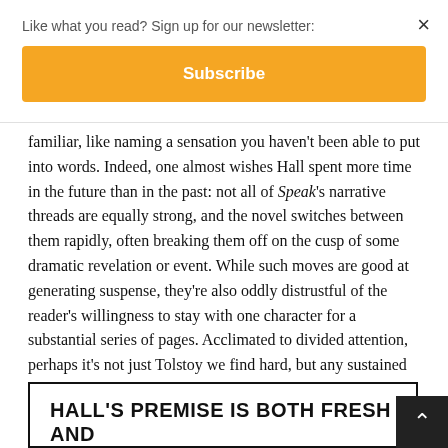Like what you read? Sign up for our newsletter:
Subscribe
×
familiar, like naming a sensation you haven't been able to put into words. Indeed, one almost wishes Hall spent more time in the future than in the past: not all of Speak's narrative threads are equally strong, and the novel switches between them rapidly, often breaking them off on the cusp of some dramatic revelation or event. While such moves are good at generating suspense, they're also oddly distrustful of the reader's willingness to stay with one character for a substantial series of pages. Acclimated to divided attention, perhaps it's not just Tolstoy we find hard, but any sustained engagement with a single voice.
HALL'S PREMISE IS BOTH FRESH AND